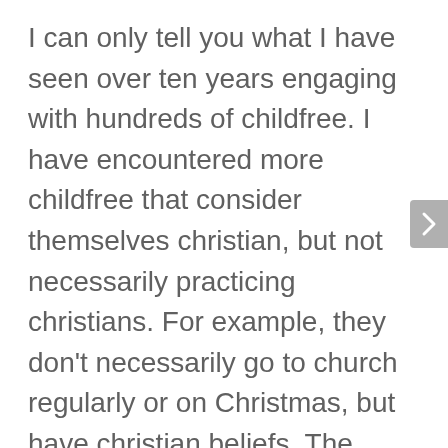I can only tell you what I have seen over ten years engaging with hundreds of childfree. I have encountered more childfree that consider themselves christian, but not necessarily practicing christians. For example, they don't necessarily go to church regularly or on Christmas, but have christian beliefs. The second most include people who subscribe to other major religions including judiasm, hinduism and buddhism.

Then I would say I encounter serious practicing christians and their opposite